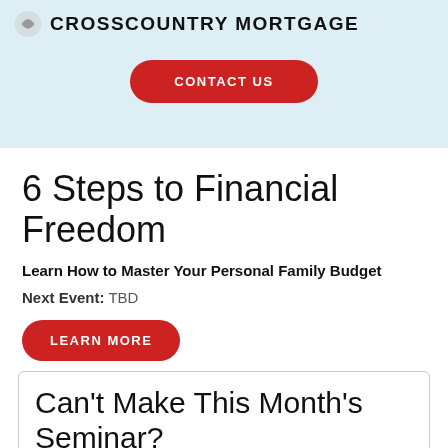CROSSCOUNTRY MORTGAGE
CONTACT US
6 Steps to Financial Freedom
Learn How to Master Your Personal Family Budget
Next Event: TBD
LEARN MORE
Can't Make This Month's Seminar?